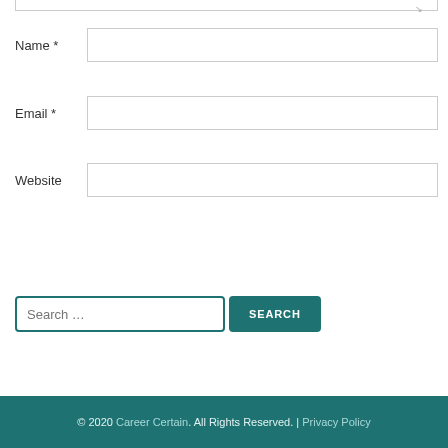Name *
Email *
Website
POST COMMENT
Search …
SEARCH
© 2020 Career Certain. All Rights Reserved. | Privacy Policy